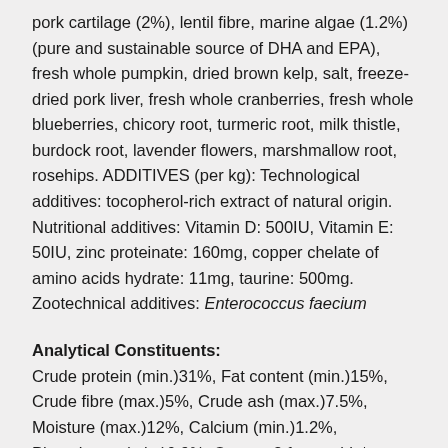pork cartilage (2%), lentil fibre, marine algae (1.2%) (pure and sustainable source of DHA and EPA), fresh whole pumpkin, dried brown kelp, salt, freeze-dried pork liver, fresh whole cranberries, fresh whole blueberries, chicory root, turmeric root, milk thistle, burdock root, lavender flowers, marshmallow root, rosehips. ADDITIVES (per kg): Technological additives: tocopherol-rich extract of natural origin. Nutritional additives: Vitamin D: 500IU, Vitamin E: 50IU, zinc proteinate: 160mg, copper chelate of amino acids hydrate: 11mg, taurine: 500mg. Zootechnical additives: Enterococcus faecium
Analytical Constituents:
Crude protein (min.)31%, Fat content (min.)15%, Crude fibre (max.)5%, Crude ash (max.)7.5%, Moisture (max.)12%, Calcium (min.)1.2%, Phosphorus (min.)0.9%, Omega-3 fatty acids*